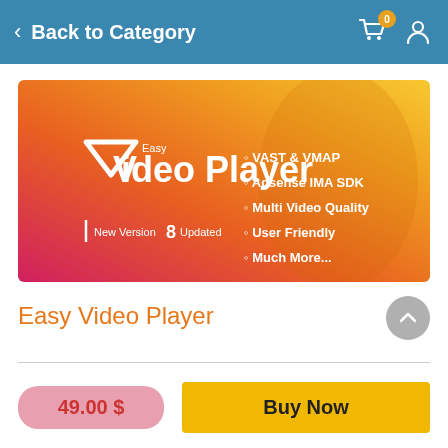Back to Category
[Figure (illustration): Easy Video Player product banner with gradient background (pink to orange to yellow). Shows logo and text 'Easy Video Player', 'New Version 8 Updated', features: VAST & VMAP, Adsense IMA SDK, Multi Video Quality, User Friendly, Much More...]
Easy Video Player
49.00 $
Buy Now